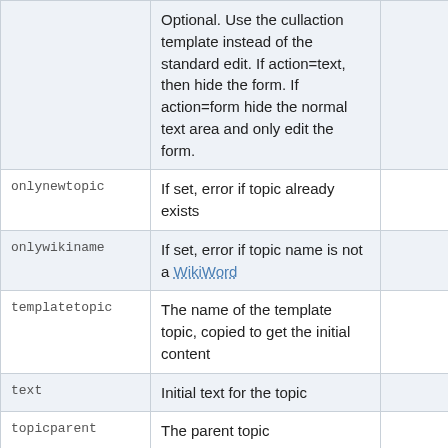|  | Optional. Use the cullaction template instead of the standard edit. If action=text, then hide the form. If action=form hide the normal text area and only edit the form. |  |
| onlynewtopic | If set, error if topic already exists |  |
| onlywikiname | If set, error if topic name is not a WikiWord |  |
| templatetopic | The name of the template topic, copied to get the initial content |  |
| text | Initial text for the topic |  |
| topicparent | The parent topic |  |
| formtemplate | Name of the form to instantiate in the topic. Overrides the form set in the templatetopic if defined. |  |
| contenttype | Optional parameter that |  |